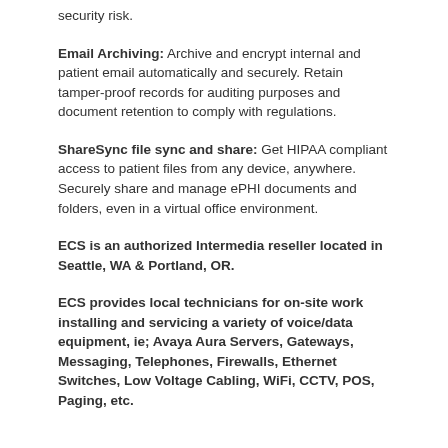security risk.
Email Archiving: Archive and encrypt internal and patient email automatically and securely. Retain tamper-proof records for auditing purposes and document retention to comply with regulations.
ShareSync file sync and share: Get HIPAA compliant access to patient files from any device, anywhere. Securely share and manage ePHI documents and folders, even in a virtual office environment.
ECS is an authorized Intermedia reseller located in Seattle, WA & Portland, OR.
ECS provides local technicians for on-site work installing and servicing a variety of voice/data equipment, ie; Avaya Aura Servers, Gateways, Messaging, Telephones, Firewalls, Ethernet Switches, Low Voltage Cabling, WiFi, CCTV, POS, Paging, etc.